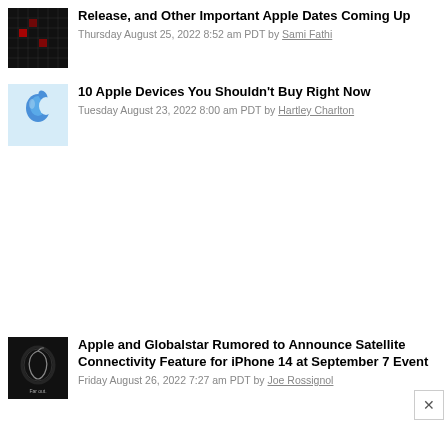[Figure (photo): Dark grid/calendar-like image with red highlights]
Release, and Other Important Apple Dates Coming Up
Thursday August 25, 2022 8:52 am PDT by Sami Fathi
[Figure (photo): Blue Apple logo on light blue background]
10 Apple Devices You Shouldn't Buy Right Now
Tuesday August 23, 2022 8:00 am PDT by Hartley Charlton
[Figure (photo): Apple logo on dark background with 'Far out.' text]
Apple and Globalstar Rumored to Announce Satellite Connectivity Feature for iPhone 14 at September 7 Event
Friday August 26, 2022 7:27 am PDT by Joe Rossignol